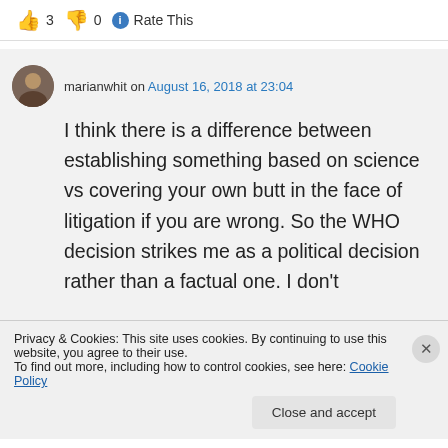👍 3 👎 0 ℹ Rate This
marianwhit on August 16, 2018 at 23:04
I think there is a difference between establishing something based on science vs covering your own butt in the face of litigation if you are wrong. So the WHO decision strikes me as a political decision rather than a factual one. I don't
Privacy & Cookies: This site uses cookies. By continuing to use this website, you agree to their use.
To find out more, including how to control cookies, see here: Cookie Policy
Close and accept